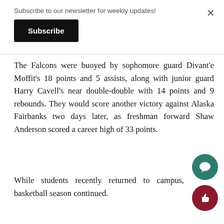Subscribe to our newsletter for weekly updates!
Subscribe
The Falcons were buoyed by sophomore guard Divant'e Moffit's 18 points and 5 assists, along with junior guard Harry Cavell's near double-double with 14 points and 9 rebounds. They would score another victory against Alaska Fairbanks two days later, as freshman forward Shaw Anderson scored a career high of 33 points.
While students recently returned to campus, basketball season continued.